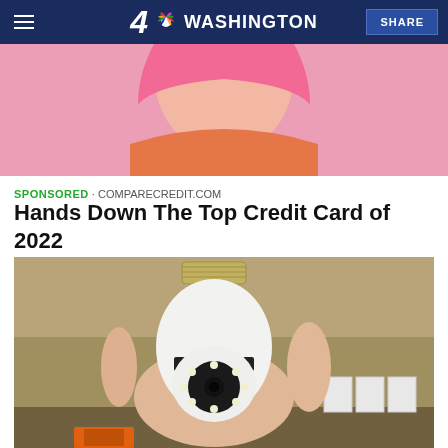4 NBC WASHINGTON  SHARE
[Figure (photo): Close-up photo of a person with pink hair holding a credit card near their face, wearing an orange outfit, against a pink background.]
SPONSORED · COMPARECREDIT.COM
Hands Down The Top Credit Card of 2022
[Figure (photo): A hand holding a white security camera shaped like a light bulb (bulb-form-factor spy camera) with a circular lens and LED ring, against a shelf/cardboard background with small white boxes visible.]